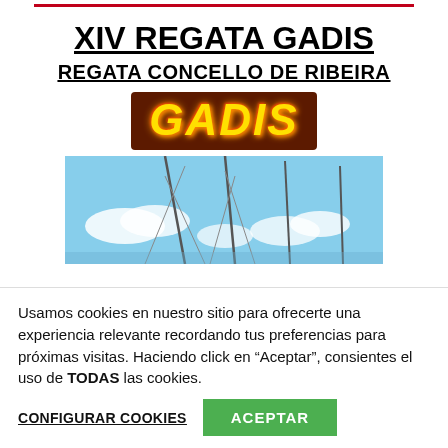[Figure (other): Red horizontal decorative line separator]
XIV REGATA GADIS
REGATA CONCELLO DE RIBEIRA
[Figure (logo): GADIS logo: yellow italic bold text on dark brown/maroon background]
[Figure (photo): Photo of sailboat masts against a blue sky with clouds]
Usamos cookies en nuestro sitio para ofrecerte una experiencia relevante recordando tus preferencias para próximas visitas. Haciendo click en “Aceptar”, consientes el uso de TODAS las cookies.
CONFIGURAR COOKIES
ACEPTAR